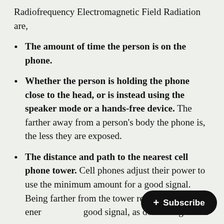Radiofrequency Electromagnetic Field Radiation are,
The amount of time the person is on the phone.
Whether the person is holding the phone close to the head, or is instead using the speaker mode or a hands-free device. The farther away from a person's body the phone is, the less they are exposed.
The distance and path to the nearest cell phone tower. Cell phones adjust their power to use the minimum amount for a good signal. Being farther from the tower requires more energy to get a good signal, as does being inside a